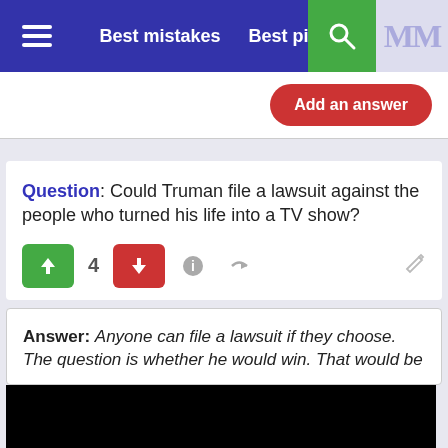Best mistakes   Best pictures
Add an answer
Question: Could Truman file a lawsuit against the people who turned his life into a TV show?
Answer: Anyone can file a lawsuit if they choose. The question is whether he would win. That would be
[Figure (screenshot): Black video player with a white play button triangle in the center]